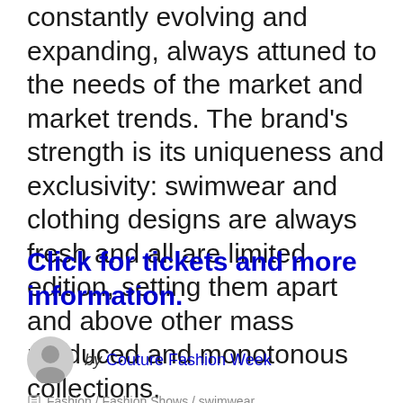constantly evolving and expanding, always attuned to the needs of the market and market trends. The brand's strength is its uniqueness and exclusivity: swimwear and clothing designs are always fresh and all are limited edition, setting them apart and above other mass produced and monotonous collections.
Click for tickets and more information.
by Couture Fashion Week
Fashion / Fashion Shows / swimwear